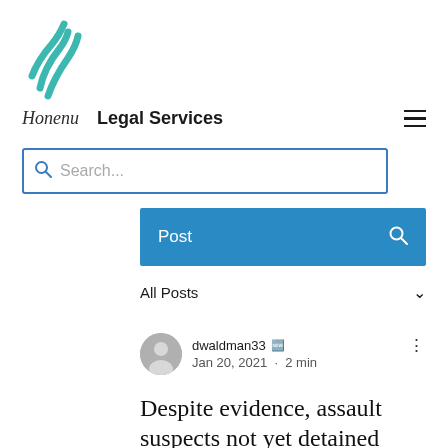[Figure (logo): Teal/cyan colored stylized double-check or slash mark logo icon]
Honenu   Legal Services
Search...
Post
All Posts
dwaldman33 [admin icon] Jan 20, 2021 · 2 min
Despite evidence, assault suspects not yet detained